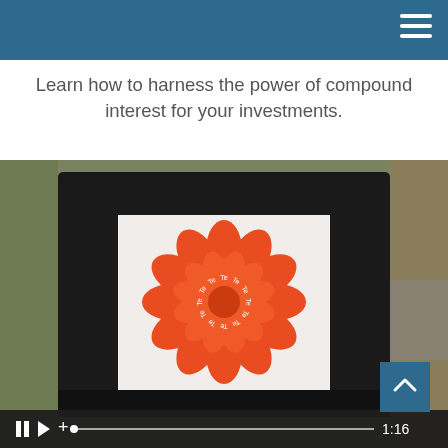Learn how to harness the power of compound interest for your investments.
[Figure (photo): Photo of a tablet device displaying an orange mandala/flower logo on screen, sitting inside a bag. The tablet shows a video player interface at the bottom with controls including pause, play, plus buttons, a progress bar, and a timestamp showing 1:16.]